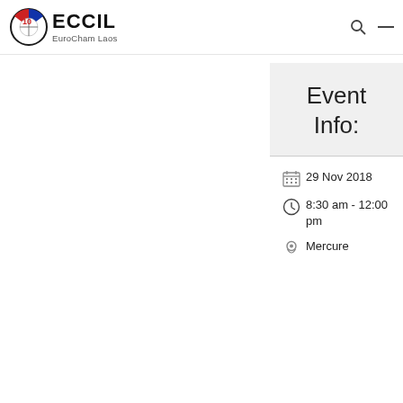[Figure (logo): ECCIL EuroCham Laos logo with red/blue circular emblem and text]
Event Info:
29 Nov 2018
8:30 am - 12:00 pm
Mercure